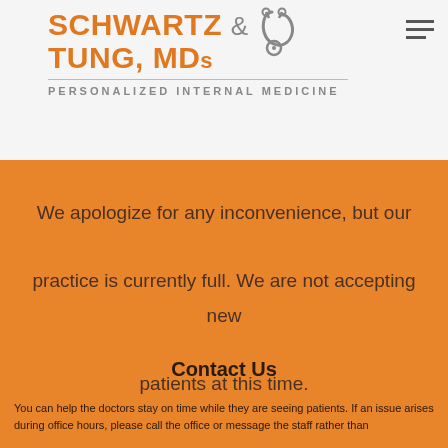[Figure (logo): Schwartz & Tung, MDs - Personalized Internal Medicine logo with stethoscope graphic and orange text]
We apologize for any inconvenience, but our practice is currently full. We are not accepting new patients at this time.
Contact Us
You can help the doctors stay on time while they are seeing patients. If an issue arises during office hours, please call the office or message the staff rather than